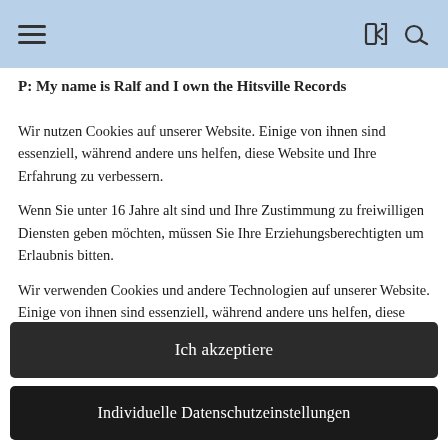[hamburger menu icon] [share icon] [search icon]
P: My name is Ralf and I own the Hitsville Records
Wir nutzen Cookies auf unserer Website. Einige von ihnen sind essenziell, während andere uns helfen, diese Website und Ihre Erfahrung zu verbessern.
Wenn Sie unter 16 Jahre alt sind und Ihre Zustimmung zu freiwilligen Diensten geben möchten, müssen Sie Ihre Erziehungsberechtigten um Erlaubnis bitten.
Wir verwenden Cookies und andere Technologien auf unserer Website. Einige von ihnen sind essenziell, während andere uns helfen, diese Website und Ihre Erfahrung zu verbessern. Personenbezogene Daten können verarbeitet werden (z. B. IP-Adressen), z. B. für personalisierte Anzeigen und Inhalte oder
Ich akzeptiere
Individuelle Datenschutzeinstellungen